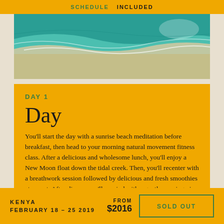SCHEDULE   INCLUDED
[Figure (photo): Aerial view of a beach with turquoise water and sandy shoreline]
DAY 1
Day
You'll start the day with a sunrise beach meditation before breakfast, then head to your morning natural movement fitness class. After a delicious and wholesome lunch, you'll enjoy a New Moon float down the tidal creek. Then, you'll recenter with a breathwork session followed by delicious and fresh smoothies at sunset. After dinner, you'll unwind with a gentle evening yin yoga and meditation session.
KENYA   FEBRUARY 18 – 25 2019   FROM $2016   SOLD OUT